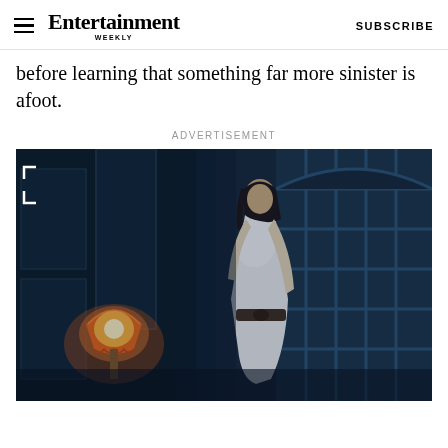Entertainment Weekly — SUBSCRIBE
before learning that something far more sinister is afoot.
ADVERTISEMENT
[Figure (photo): A woman in a white dress stands in a dark, gothic room lit with blue light. An orange lamp glows on the left. Large grid windows are visible in the background.]